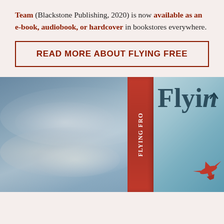Team (Blackstone Publishing, 2020) is now available as an e-book, audiobook, or hardcover in bookstores everywhere.
READ MORE ABOUT FLYING FREE
[Figure (photo): A book cover showing 'Flying Free' (partially visible) with a red spine labeled 'Flying Fro', set against a dramatic cloudy sky background with a small red airplane visible in the lower right.]